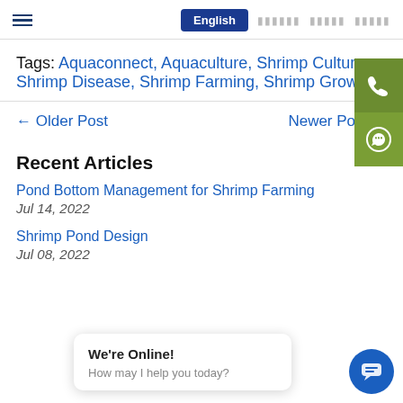English [language selector]
Tags: Aquaconnect, Aquaculture, Shrimp Culture, Shrimp Disease, Shrimp Farming, Shrimp Growth
← Older Post     Newer Post →
Recent Articles
Pond Bottom Management for Shrimp Farming
Jul 14, 2022
Shrimp Pond Design
Jul 08, 2022
We're Online! How may I help you today?